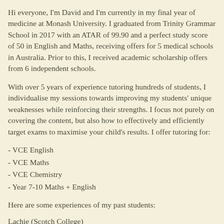Hi everyone, I'm David and I'm currently in my final year of medicine at Monash University. I graduated from Trinity Grammar School in 2017 with an ATAR of 99.90 and a perfect study score of 50 in English and Maths, receiving offers for 5 medical schools in Australia. Prior to this, I received academic scholarship offers from 6 independent schools.
With over 5 years of experience tutoring hundreds of students, I individualise my sessions towards improving my students' unique weaknesses while reinforcing their strengths. I focus not purely on covering the content, but also how to effectively and efficiently target exams to maximise your child's results. I offer tutoring for:
- VCE English
- VCE Maths
- VCE Chemistry
- Year 7-10 Maths + English
Here are some experiences of my past students:
Lachie (Scotch College)